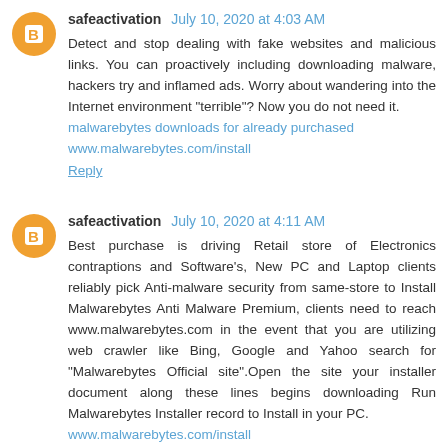safeactivation July 10, 2020 at 4:03 AM
Detect and stop dealing with fake websites and malicious links. You can proactively including downloading malware, hackers try and inflamed ads. Worry about wandering into the Internet environment "terrible"? Now you do not need it. malwarebytes downloads for already purchased www.malwarebytes.com/install
Reply
safeactivation July 10, 2020 at 4:11 AM
Best purchase is driving Retail store of Electronics contraptions and Software's, New PC and Laptop clients reliably pick Anti-malware security from same-store to Install Malwarebytes Anti Malware Premium, clients need to reach www.malwarebytes.com in the event that you are utilizing web crawler like Bing, Google and Yahoo search for "Malwarebytes Official site".Open the site your installer document along these lines begins downloading Run Malwarebytes Installer record to Install in your PC. www.malwarebytes.com/install